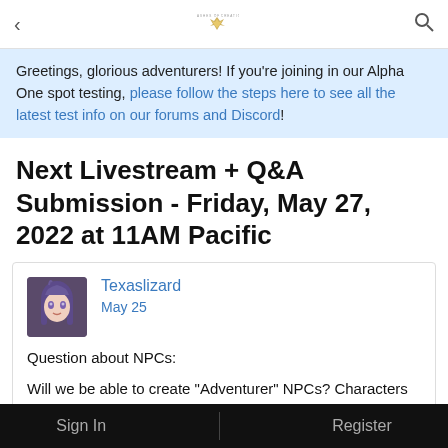< Ashes of Creation [search icon]
Greetings, glorious adventurers! If you're joining in our Alpha One spot testing, please follow the steps here to see all the latest test info on our forums and Discord!
Next Livestream + Q&A Submission - Friday, May 27, 2022 at 11AM Pacific
Texaslizard
May 25

Question about NPCs:

Will we be able to create "Adventurer" NPCs? Characters that can join and develop alongside the player?
Sign In    Register